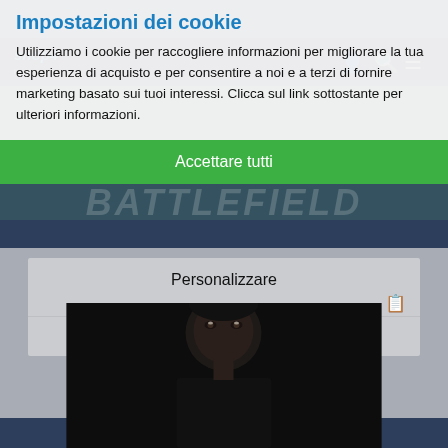[Figure (screenshot): Background of a shopping website (shop4italie.com) with navigation bar and a Battlefield game banner visible behind a cookie consent dialog overlay]
Impostazioni dei cookie
Utilizziamo i cookie per raccogliere informazioni per migliorare la tua esperienza di acquisto e per consentire a noi e a terzi di fornire marketing basato sui tuoi interessi. Clicca sul link sottostante per ulteriori informazioni.
Accettare tutti
Personalizzare
Maggiori informazioni
[Figure (photo): Photo of a man's face with dark skin, looking slightly upward, against a dark background — visible in the lower portion of the page beneath the cookie dialog]